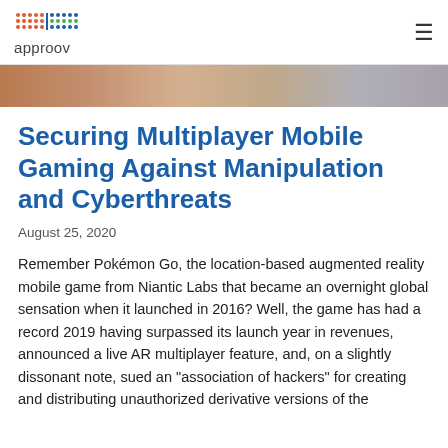approov
[Figure (photo): Partial photo of a person's face/hands, cropped at top of page]
Securing Multiplayer Mobile Gaming Against Manipulation and Cyberthreats
August 25, 2020
Remember Pokémon Go, the location-based augmented reality mobile game from Niantic Labs that became an overnight global sensation when it launched in 2016? Well, the game has had a record 2019 having surpassed its launch year in revenues, announced a live AR multiplayer feature, and, on a slightly dissonant note, sued an "association of hackers" for creating and distributing unauthorized derivative versions of the